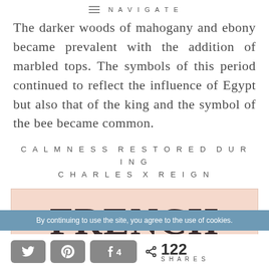NAVIGATE
The darker woods of mahogany and ebony became prevalent with the addition of marbled tops. The symbols of this period continued to reflect the influence of Egypt but also that of the king and the symbol of the bee became common.
CALMNESS RESTORED DURING CHARLES X REIGN
[Figure (other): Pink/peach background banner with large bold serif text reading FRENCH]
By continuing to use the site, you agree to the use of cookies.
< 122 SHARES